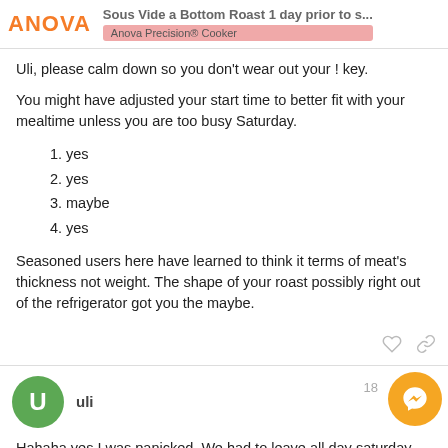Sous Vide a Bottom Roast 1 day prior to s... | Anova Precision® Cooker
Uli, please calm down so you don't wear out your ! key.
You might have adjusted your start time to better fit with your mealtime unless you are too busy Saturday.
1. yes
2. yes
3. maybe
4. yes
Seasoned users here have learned to think it terms of meat's thickness not weight. The shape of your roast possibly right out of the refrigerator got you the maybe.
uli
Hahaha yes I was panicked. We had to leave all day saturday